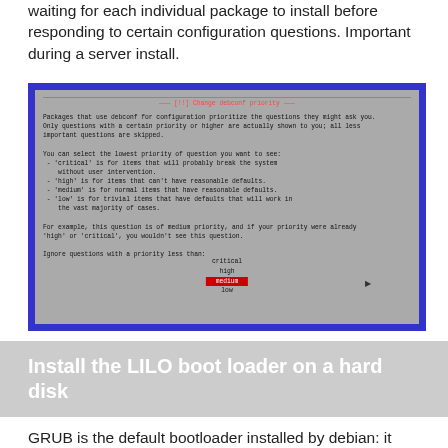waiting for each individual package to install before responding to certain configuration questions. Important during a server install.
[Figure (screenshot): Terminal screenshot showing debconf priority configuration dialog with options: critical, high, medium (selected/highlighted in red), low]
Install the LILO boot loader on a hard disk
GRUB is the default bootloader installed by debian: it